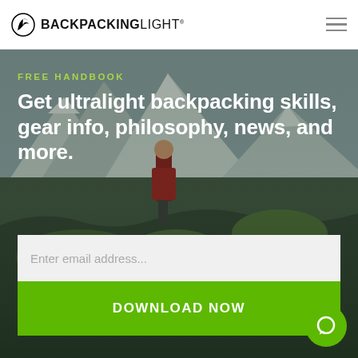BACKPACKINGLIGHT
[Figure (photo): Mountain landscape background with a backpacker wearing a red pack on a trail, snowy peaks in background, green foliage]
FREE HANDBOOK
Get ultralight backpacking skills, gear info, philosophy, news, and more.
Enter email address...
DOWNLOAD NOW